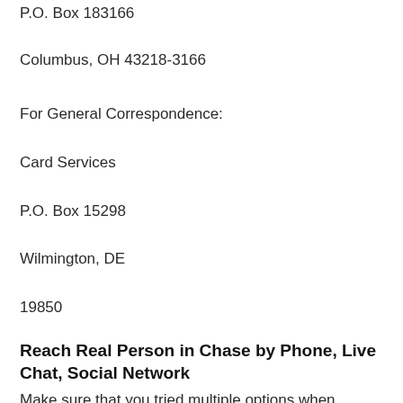P.O. Box 183166
Columbus, OH 43218-3166
For General Correspondence:
Card Services
P.O. Box 15298
Wilmington, DE
19850
Reach Real Person in Chase by Phone, Live Chat, Social Network
Make sure that you tried multiple options when